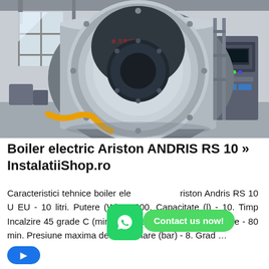[Figure (photo): Industrial boiler in a factory/warehouse setting. A large cylindrical silver and black boiler with Chinese text on the front circular face. Connected to yellow pipes/hoses. A blue electrical control cabinet visible on the right.]
Boiler electric Ariston ANDRIS RS 10 » InstalatiiShop.ro
Caracteristici tehnice boiler electric Ariston Andris RS 10 U EU - 10 litri. Putere (W) - 1200. Capacitate (l) - 10. Timp Incalzire 45 grade C (min) - 29. Temp max de functionare - 80 min. Presiune maxima de functionare (bar) - 8. Grad …